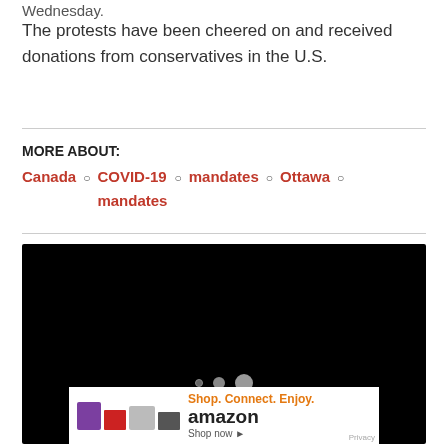Wednesday.
The protests have been cheered on and received donations from conservatives in the U.S.
MORE ABOUT:
Canada o COVID-19 mandates o mandates o Ottawa o
[Figure (other): Black video player area with loading dots and an Amazon advertisement banner at the bottom reading 'Shop. Connect. Enjoy. amazon Shop now' with product images.]